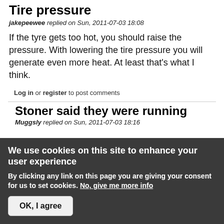Tire pressure
jakepeewee replied on Sun, 2011-07-03 18:08
If the tyre gets too hot, you should raise the pressure. With lowering the tire pressure you will generate even more heat. At least that's what I think.
Log in or register to post comments
Stoner said they were running
Muggsly replied on Sun, 2011-07-03 18:16
We use cookies on this site to enhance your user experience
By clicking any link on this page you are giving your consent for us to set cookies. No, give me more info
OK, I agree